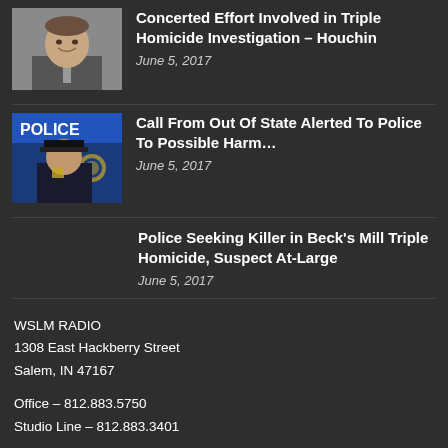[Figure (photo): Portrait photo of a man in a suit and tie]
Concerted Effort Involved in Triple Homicide Investigation – Houchin
June 5, 2017
[Figure (photo): Police officer at a podium with a police department banner in the background]
Call From Out Of State Alerted To Police To Possible Harm…
June 5, 2017
Police Seeking Killer in Beck's Mill Triple Homicide, Suspect At-Large
June 5, 2017
WSLM RADIO
1308 East Hackberry Street
Salem, IN 47167
Office – 812.883.5750
Studio Line – 812.883.3401